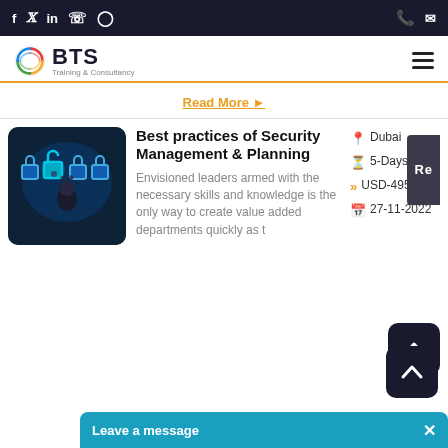BTS Training & Consultancy - social icons, phone, email, hamburger menu
[Figure (logo): BTS Training & Consultancy logo with circular multicolor swoosh icon]
Read More ▶
[Figure (photo): Person in suit touching glowing blue digital lock icons on a screen - security concept]
Best practices of Security Management & Planning
Envisioned leaders armed with the necessary skills and knowledge is the only way to create value added departments quickly as t
Dubai
5-Days
USD-4950
27-11-2022
Leave a message ✕